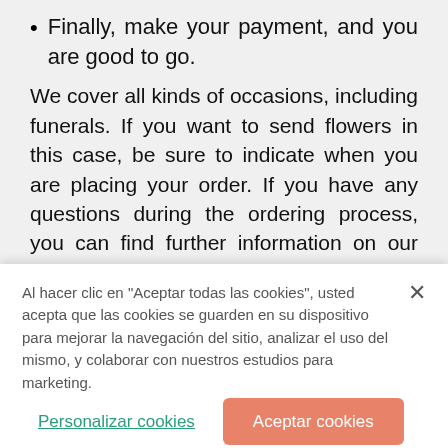Finally, make your payment, and you are good to go.
We cover all kinds of occasions, including funerals. If you want to send flowers in this case, be sure to indicate when you are placing your order. If you have any questions during the ordering process, you can find further information on our website. If you can't find what you are looking for, don't hesitate to reach out to us.
Why Is FloraQueen the Best?
Al hacer clic en "Aceptar todas las cookies", usted acepta que las cookies se guarden en su dispositivo para mejorar la navegación del sitio, analizar el uso del mismo, y colaborar con nuestros estudios para marketing.
Personalizar cookies
Aceptar cookies